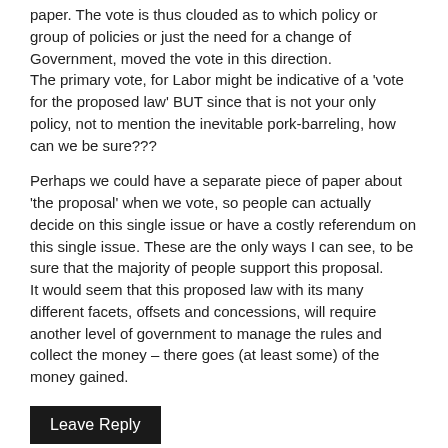paper. The vote is thus clouded as to which policy or group of policies or just the need for a change of Government, moved the vote in this direction.
The primary vote, for Labor might be indicative of a 'vote for the proposed law' BUT since that is not your only policy, not to mention the inevitable pork-barreling, how can we be sure???
Perhaps we could have a separate piece of paper about 'the proposal' when we vote, so people can actually decide on this single issue or have a costly referendum on this single issue. These are the only ways I can see, to be sure that the majority of people support this proposal.
It would seem that this proposed law with its many different facets, offsets and concessions, will require another level of government to manage the rules and collect the money – there goes (at least some) of the money gained.
Leave Reply
Warren Bird
March 10, 2019
My response: